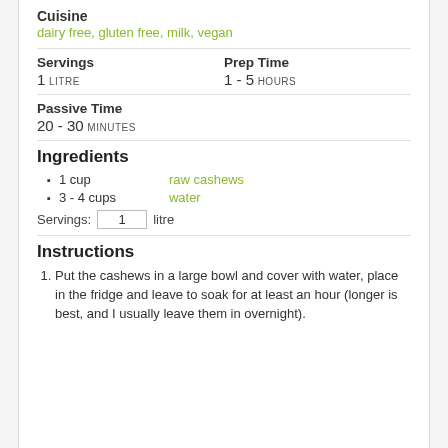Cuisine
dairy free, gluten free, milk, vegan
Servings
1 LITRE
Prep Time
1 - 5 HOURS
Passive Time
20 - 30 MINUTES
Ingredients
1 cup   raw cashews
3 - 4 cups   water
Servings: 1 litre
Instructions
1. Put the cashews in a large bowl and cover with water, place in the fridge and leave to soak for at least an hour (longer is best, and I usually leave them in overnight).